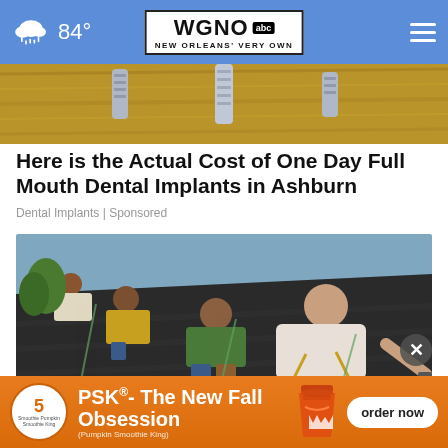84° | WGNO ABC - New Orleans' Very Own
[Figure (photo): Close-up of dental implants in bone/tissue]
Here is the Actual Cost of One Day Full Mouth Dental Implants in Ashburn
Dental Implants | Sponsored
[Figure (photo): Workers installing shingles on a rooftop, one man in foreground hammering]
[Figure (infographic): PSK - The New Fall Obsession (Pumpkin Smoothie King) advertisement banner with order now button]